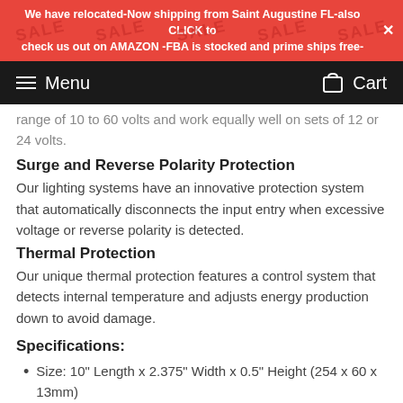We have relocated-Now shipping from Saint Augustine FL-also CLICK to check us out on AMAZON -FBA is stocked and prime ships free-
Menu   Cart
range of 10 to 60 volts and work equally well on sets of 12 or 24 volts.
Surge and Reverse Polarity Protection
Our lighting systems have an innovative protection system that automatically disconnects the input entry when excessive voltage or reverse polarity is detected.
Thermal Protection
Our unique thermal protection features a control system that detects internal temperature and adjusts energy production down to avoid damage.
Specifications:
Size: 10" Length x 2.375" Width x 0.5" Height (254 x 60 x 13mm)